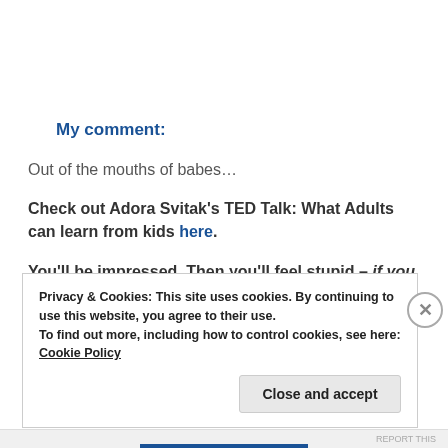My comment:
Out of the mouths of babes…
Check out Adora Svitak's TED Talk: What Adults can learn from kids here.
You'll be impressed. Then you'll feel stupid – if you are not a kid. I did. [laughing]
Privacy & Cookies: This site uses cookies. By continuing to use this website, you agree to their use.
To find out more, including how to control cookies, see here: Cookie Policy
Close and accept